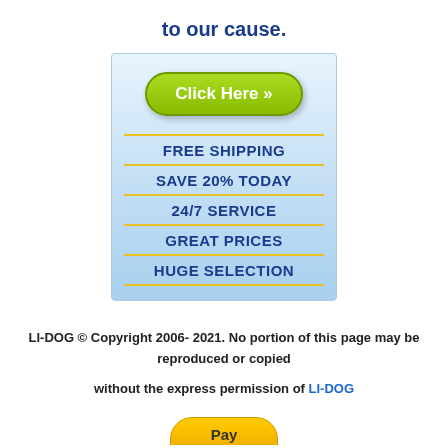to our cause.
[Figure (infographic): Light blue gradient banner box with a green 'Click Here »' button and a list of features: FREE SHIPPING, SAVE 20% TODAY, 24/7 SERVICE, GREAT PRICES, HUGE SELECTION, each separated by a gold/yellow horizontal line.]
LI-DOG © Copyright 2006- 2021. No portion of this page may be reproduced or copied
without the express permission of LI-DOG
[Figure (other): Partial yellow/gold rounded button at the bottom of the page, partially cut off]